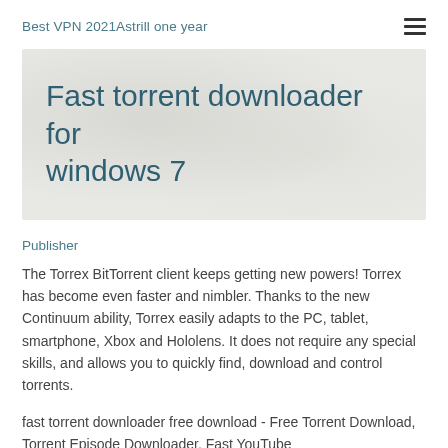Best VPN 2021Astrill one year
Fast torrent downloader for windows 7
Publisher
The Torrex BitTorrent client keeps getting new powers! Torrex has become even faster and nimbler. Thanks to the new Continuum ability, Torrex easily adapts to the PC, tablet, smartphone, Xbox and Hololens. It does not require any special skills, and allows you to quickly find, download and control torrents.
fast torrent downloader free download - Free Torrent Download, Torrent Episode Downloader, Fast YouTube